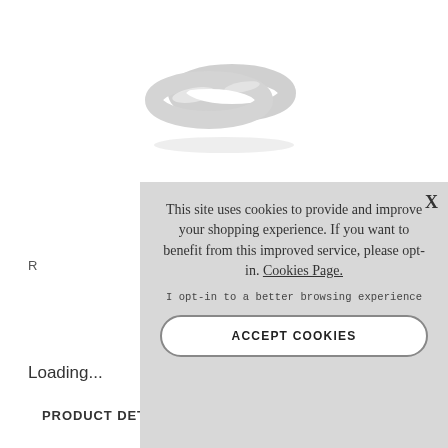[Figure (photo): Silver/platinum ring product photo on white background, viewed from above at slight angle showing two overlapping or stacked rings]
R
Loading...
PRODUCT DETA
[Figure (screenshot): Cookie consent modal overlay with gray background. Text reads: 'This site uses cookies to provide and improve your shopping experience. If you want to benefit from this improved service, please opt-in. Cookies Page.' followed by 'I opt-in to a better browsing experience' and an ACCEPT COOKIES button. Close X in top right corner.]